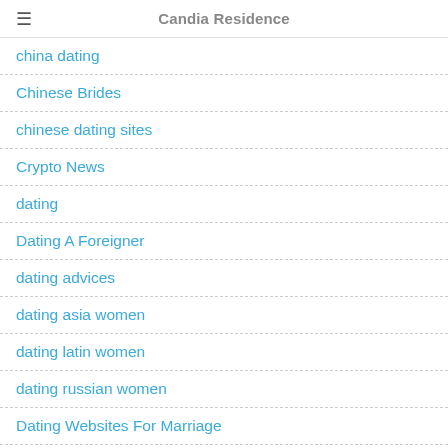Candia Residence
china dating
Chinese Brides
chinese dating sites
Crypto News
dating
Dating A Foreigner
dating advices
dating asia women
dating latin women
dating russian women
Dating Websites For Marriage
Dragon Quest Ix Roms